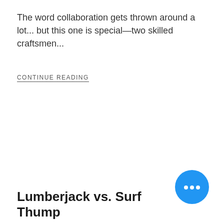The word collaboration gets thrown around a lot... but this one is special—two skilled craftsmen...
CONTINUE READING
[Figure (illustration): Blue circular chat bubble icon with three dots (ellipsis) in white, indicating a messaging or chat widget button]
Lumberjack vs. Surf Thump